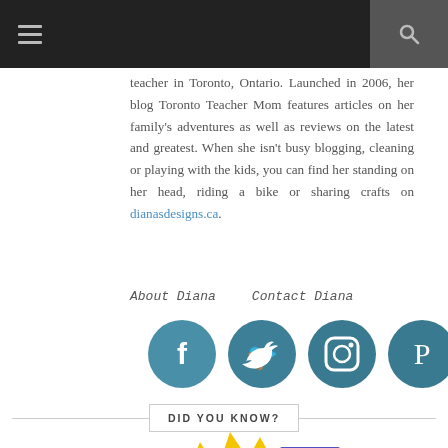Navigation bar with hamburger menu and search icon
teacher in Toronto, Ontario. Launched in 2006, her blog Toronto Teacher Mom features articles on her family's adventures as well as reviews on the latest and greatest. When she isn't busy blogging, cleaning or playing with the kids, you can find her standing on her head, riding a bike or sharing crafts on dianasdesigns.ca.
About Diana
Contact Diana
[Figure (infographic): Five circular social media icons: Facebook, Twitter, Instagram, Pinterest, RSS feed — in teal/dark-cyan color]
DID YOU KNOW?
[Figure (illustration): Partial illustration at the bottom of the page showing colorful decorative design elements in red, yellow, and blue]